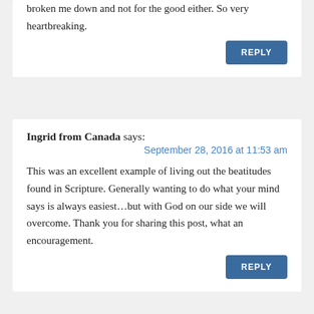broken me down and not for the good either. So very heartbreaking.
REPLY
Ingrid from Canada says:
September 28, 2016 at 11:53 am
This was an excellent example of living out the beatitudes found in Scripture. Generally wanting to do what your mind says is always easiest…but with God on our side we will overcome. Thank you for sharing this post, what an encouragement.
REPLY